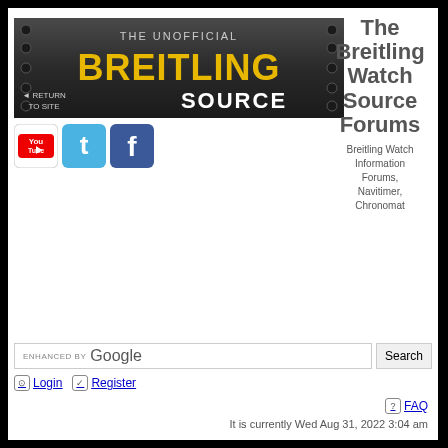[Figure (logo): The Unofficial Breitling Source banner with dark metallic background, yellow BREITLING text, white SOURCE text, and Return to Site link]
[Figure (logo): YouTube icon - red and white logo]
[Figure (logo): Twitter icon - blue bird logo]
[Figure (logo): Facebook icon - blue f logo]
The Breitling Watch Source Forums
Breitling Watch Information Forums, Navitimer, Chronomat
ENHANCED BY Google
Search
Login
Register
FAQ
It is currently Wed Aug 31, 2022 3:04 am